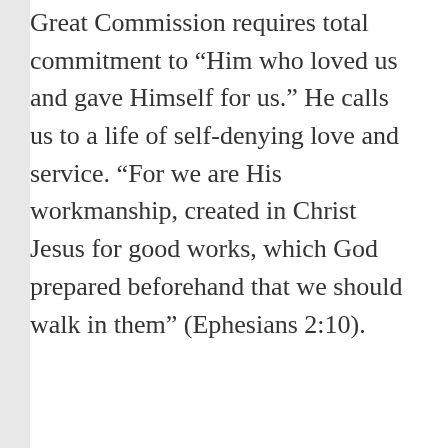Great Commission requires total commitment to “Him who loved us and gave Himself for us.” He calls us to a life of self-denying love and service. “For we are His workmanship, created in Christ Jesus for good works, which God prepared beforehand that we should walk in them” (Ephesians 2:10).
[Figure (other): Like button widget with blue star icon and 'Like' text inside a bordered rounded button]
Be the first to like this.
Leave a Reply
Your email address will not be published. Required fields are marked *